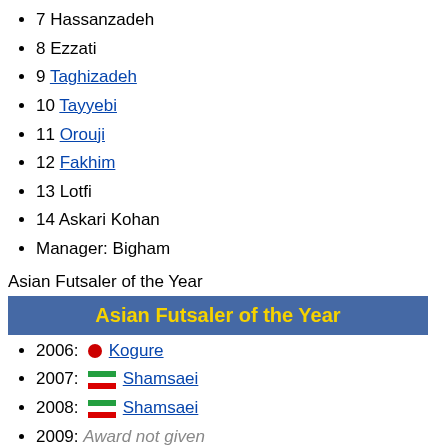7 Hassanzadeh
8 Ezzati
9 Taghizadeh
10 Tayyebi
11 Orouji
12 Fakhim
13 Lotfi
14 Askari Kohan
Manager: Bigham
Asian Futsaler of the Year
| Asian Futsaler of the Year |
| --- |
2006: Kogure
2007: Shamsaei
2008: Shamsaei
2009: Award not given
2010: Taheri
2011: Keshavarz
2012: Henmi
2013: Suphawut
2014: Hassanzadeh
2015: Shamsaei
2016: Hassanzadeh
2017: Hassanzadeh